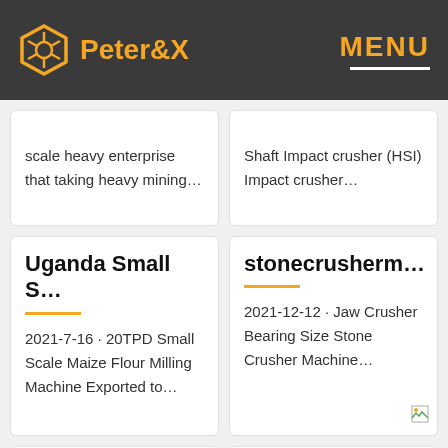Peter&X  MENU
scale heavy enterprise that taking heavy mining…
Shaft Impact crusher (HSI) Impact crusher…
Uganda Small S…
2021-7-16 · 20TPD Small Scale Maize Flour Milling Machine Exported to…
stonecrusherm…
2021-12-12 · Jaw Crusher Bearing Size Stone Crusher Machine…
small combinati…
Mini Ore Crush…